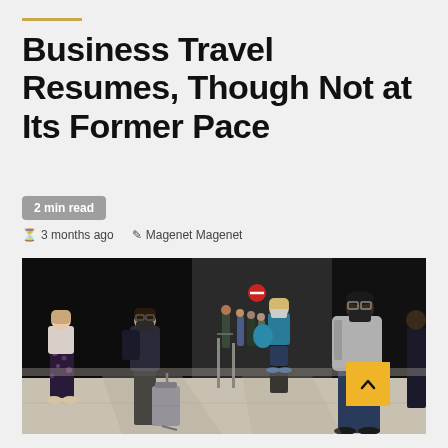Business Travel Resumes, Though Not at Its Former Pace
2 min read
3 months ago  Magenet Magenet
[Figure (photo): Travelers wearing masks walking through an airport terminal. Several people with luggage are visible, including a man in a dark jacket pulling a rolling suitcase and a man in a gray hoodie walking in the foreground.]